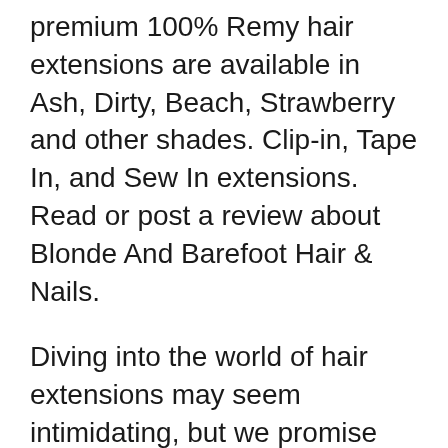premium 100% Remy hair extensions are available in Ash, Dirty, Beach, Strawberry and other shades. Clip-in, Tape In, and Sew In extensions. Read or post a review about Blonde And Barefoot Hair & Nails.
Diving into the world of hair extensions may seem intimidating, but we promise after your first try you will be hooked! The satisfaction of being able to add length and volume to your hair that you have been dreaming of for years is a feeling, unlike anything that we can describe in words. Barefoot Blonde Hair Review & Hair Care Favorites I have been loving recently. These clip-in extensions are amazing and offer a